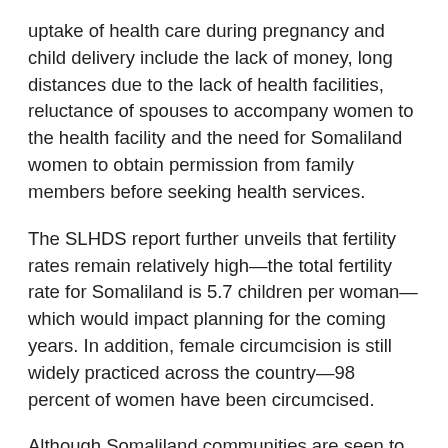uptake of health care during pregnancy and child delivery include the lack of money, long distances due to the lack of health facilities, reluctance of spouses to accompany women to the health facility and the need for Somaliland women to obtain permission from family members before seeking health services.
The SLHDS report further unveils that fertility rates remain relatively high—the total fertility rate for Somaliland is 5.7 children per woman—which would impact planning for the coming years. In addition, female circumcision is still widely practiced across the country—98 percent of women have been circumcised.
Although Somaliland communities are seen to be moving towards practising the Intermediate and mild Sunni forms of circumcision, survey results show that the severe Pharaonic form is still the most common form being